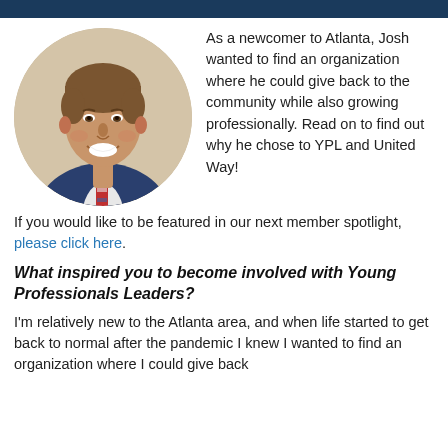[Figure (photo): Circular headshot of a young man in a blue suit and striped tie, smiling, against a light background.]
As a newcomer to Atlanta, Josh wanted to find an organization where he could give back to the community while also growing professionally. Read on to find out why he chose to YPL and United Way! If you would like to be featured in our next member spotlight, please click here.
What inspired you to become involved with Young Professionals Leaders?
I'm relatively new to the Atlanta area, and when life started to get back to normal after the pandemic I knew I wanted to find an organization where I could give back